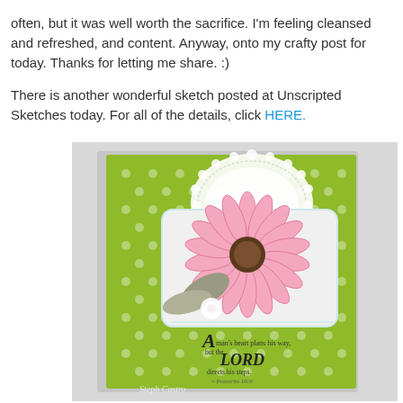often, but it was well worth the sacrifice.  I'm feeling cleansed and refreshed, and content.  Anyway, onto my crafty post for today.  Thanks for letting me share. :)
There is another wonderful sketch posted at Unscripted Sketches today.  For all of the details, click HERE.
[Figure (photo): A handmade greeting card with a green polka-dot background, a white doily, a pink daisy flower, gray leaf embellishments, a small white rose, and a scripture verse about the LORD directing steps (Proverbs 16:9). Watermark reads 'Steph Castro'.]